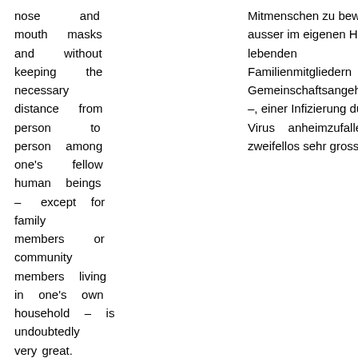nose and mouth masks and without keeping the necessary distance from person to person among one's fellow human beings – except for family members or community members living in one's own household – is undoubtedly very great.
Mitmenschen zu bew ausser im eigenen H lebenden Familienmitgliedern Gemeinschaftsangeh –, einer Infizierung du Virus anheimzufalle zweifellos sehr gross